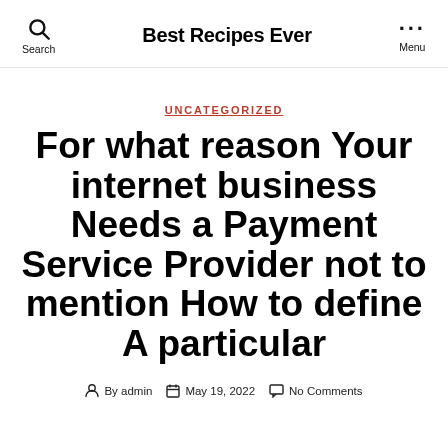Best Recipes Ever
UNCATEGORIZED
For what reason Your internet business Needs a Payment Service Provider not to mention How to define A particular
By admin   May 19, 2022   No Comments